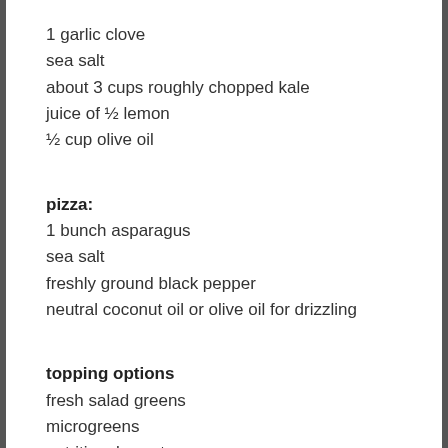1 garlic clove
sea salt
about 3 cups roughly chopped kale
juice of ½ lemon
½ cup olive oil
pizza:
1 bunch asparagus
sea salt
freshly ground black pepper
neutral coconut oil or olive oil for drizzling
topping options
fresh salad greens
microgreens
nutritional yeast